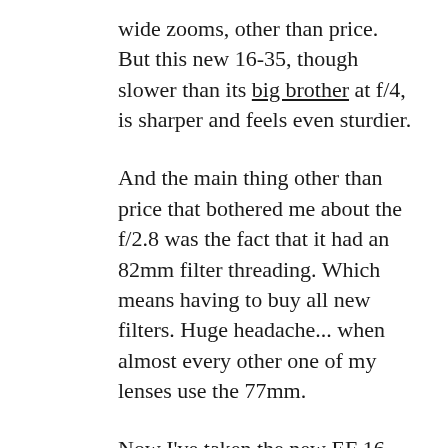wide zooms, other than price. But this new 16-35, though slower than its big brother at f/4, is sharper and feels even sturdier.
And the main thing other than price that bothered me about the f/2.8 was the fact that it had an 82mm filter threading. Which means having to buy all new filters. Huge headache... when almost every other one of my lenses use the 77mm.
Now I've taken the new EF 16-35/4 with me as my primary landscape lens on my last three trips; Wyoming/ Montana/ Colorado, Pacific